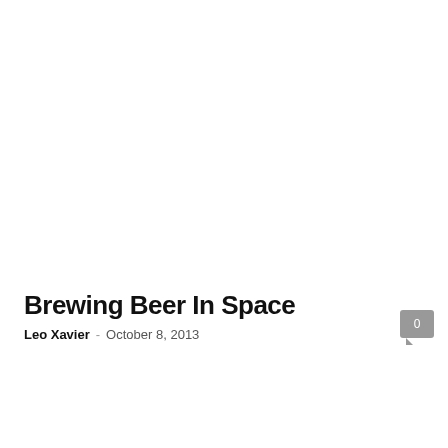Brewing Beer In Space
Leo Xavier  -  October 8, 2013